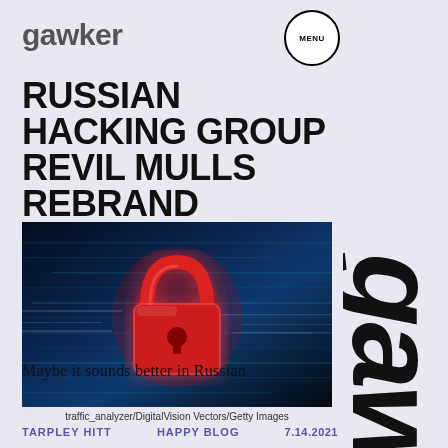gawker
RUSSIAN HACKING GROUP REVIL MULLS REBRAND
[Figure (photo): Digital illustration of a red glowing padlock on a dark blue background with motion blur streaks, symbolizing cybersecurity or hacking]
traffic_analyzer/DigitalVision Vectors/Getty Images
Maybe it sounds better in Russian
TARPLEY HITT   HAPPY BLOG   7.14.2021